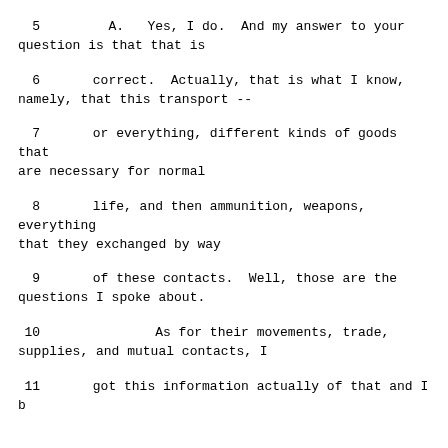5        A.   Yes, I do.  And my answer to your question is that that is
6      correct.  Actually, that is what I know, namely, that this transport --
7      or everything, different kinds of goods that are necessary for normal
8      life, and then ammunition, weapons, everything that they exchanged by way
9      of these contacts.  Well, those are the questions I spoke about.
10              As for their movements, trade, supplies, and mutual contacts, I
11     got this information actually of that and I b...